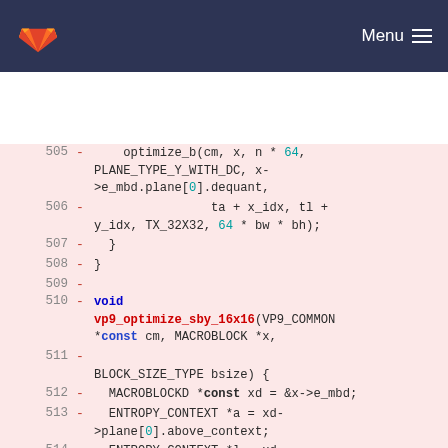GitLab — Menu
[Figure (screenshot): GitLab source code diff view showing lines 505–515 of a C file with code for vp9_optimize_sby_16x16 function, displayed on a pink/red diff background.]